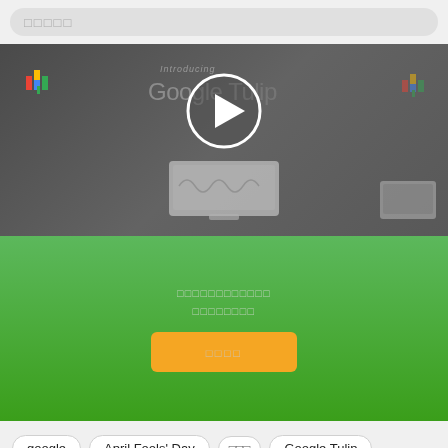[Figure (screenshot): Search bar with placeholder dots at top of mobile UI]
[Figure (screenshot): Video thumbnail showing Google Tulip product introduction with play button overlay and smart display device]
□□□□□□□□□□□□ □□□□□□□□
[Figure (screenshot): Yellow/orange call-to-action button with Japanese placeholder text]
google
April Fools' Day
□□□
Google Tulip